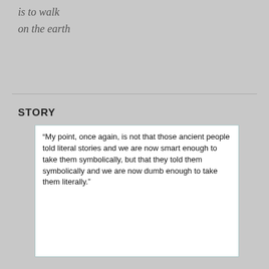is to walk
on the earth
STORY
[Figure (other): Quote box with text and photo of John Dominic Crossan. Quote reads: '“My point, once again, is not that those ancient people told literal stories and we are now smart enough to take them symbolically, but that they told them symbolically and we are now dumb enough to take them literally.”' Attribution: John Dominic Crossan, “Who Is Jesus? Answers to Your Questions About the Historical Jesus” www.bibkiver.com]